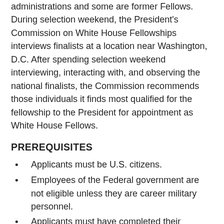administrations and some are former Fellows. During selection weekend, the President's Commission on White House Fellowships interviews finalists at a location near Washington, D.C. After spending selection weekend interviewing, interacting with, and observing the national finalists, the Commission recommends those individuals it finds most qualified for the fellowship to the President for appointment as White House Fellows.
PREREQUISITES
Applicants must be U.S. citizens.
Employees of the Federal government are not eligible unless they are career military personnel.
Applicants must have completed their undergraduate education and be working in their chosen professions.
There are no formal age restrictions.
However, the Fellowship...